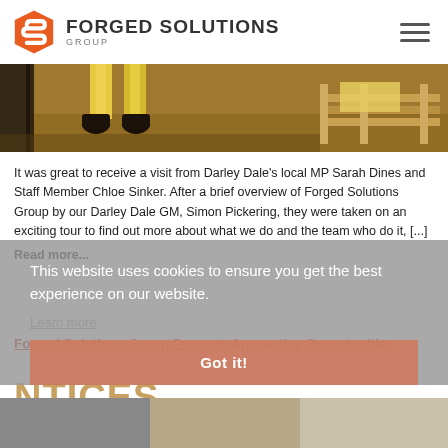Forged Solutions Group
[Figure (photo): Factory floor scene showing workers' boots and legs, with a wooden pallet, in a warm industrial lighting environment.]
It was great to receive a visit from Darley Dale's local MP Sarah Dines and Staff Member Chloe Sinker. After a brief overview of Forged Solutions Group by our Darley Dale GM, Simon Pickering, they were taken on an exciting tour to find out more about what we do and the team who do it, [...]
Read more...
This website uses cookies to ensure you get the best experience on our website.
Learn more
Got it!
Forged Solutions Group Promote Apprentice Opportunities
[Figure (photo): Thumbnail images at the bottom of the page showing apprenticeship-related content.]